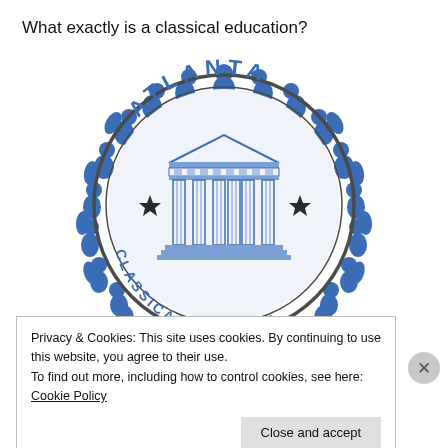What exactly is a classical education?
[Figure (logo): Atlanta Classical Academy circular logo with blue figures/laurel wreath around border and Greek temple columns in center]
Privacy & Cookies: This site uses cookies. By continuing to use this website, you agree to their use.
To find out more, including how to control cookies, see here: Cookie Policy
Close and accept